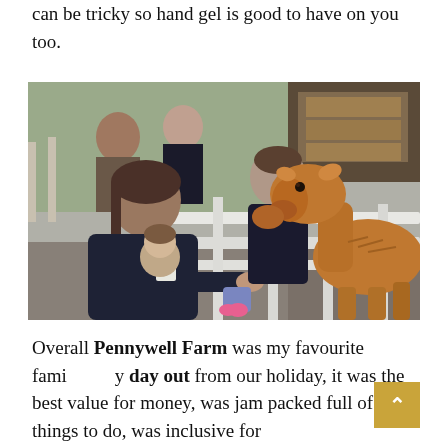can be tricky so hand gel is good to have on you too.
[Figure (photo): Families feeding a brown goat through a fence at Pennywell Farm. A woman in a dark puffer jacket holds a young child while feeding the goat from her hand. Another adult stands behind. Barn setting with wooden fence and straw bales visible.]
Overall Pennywell Farm was my favourite family day out from our holiday, it was the best value for money, was jam packed full of things to do, was inclusive for